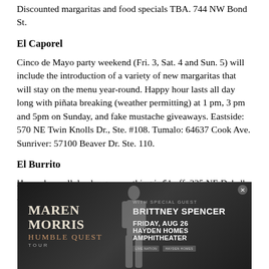Discounted margaritas and food specials TBA. 744 NW Bond St.
El Caporel
Cinco de Mayo party weekend (Fri. 3, Sat. 4 and Sun. 5) will include the introduction of a variety of new margaritas that will stay on the menu year-round. Happy hour lasts all day long with piñata breaking (weather permitting) at 1 pm, 3 pm and 5pm on Sunday, and fake mustache giveaways. Eastside: 570 NE Twin Knolls Dr., Ste. #108. Tumalo: 64637 Cook Ave. Sunriver: 57100 Beaver Dr. Ste. 110.
El Burrito
Happy hour all day long, everything is $1 off. 335 NE Dekalb Ave.
[Figure (photo): Advertisement for Maren Morris Humble Quest Tour with special guest Brittney Spencer, Friday Aug 26 at Hayden Homes Amphitheater]